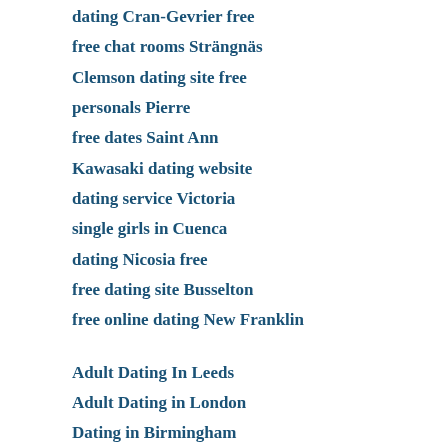dating Cran-Gevrier free
free chat rooms Strängnäs
Clemson dating site free
personals Pierre
free dates Saint Ann
Kawasaki dating website
dating service Victoria
single girls in Cuenca
dating Nicosia free
free dating site Busselton
free online dating New Franklin
Adult Dating In Leeds
Adult Dating in London
Dating in Birmingham
Dating in Bradford